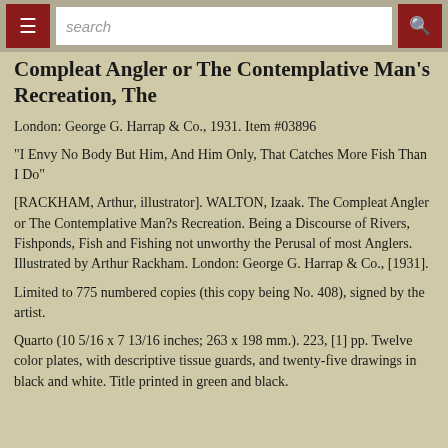search
Compleat Angler or The Contemplative Man's Recreation, The
London: George G. Harrap & Co., 1931. Item #03896
"I Envy No Body But Him, And Him Only, That Catches More Fish Than I Do"
[RACKHAM, Arthur, illustrator]. WALTON, Izaak. The Compleat Angler or The Contemplative Man?s Recreation. Being a Discourse of Rivers, Fishponds, Fish and Fishing not unworthy the Perusal of most Anglers. Illustrated by Arthur Rackham. London: George G. Harrap & Co., [1931].
Limited to 775 numbered copies (this copy being No. 408), signed by the artist.
Quarto (10 5/16 x 7 13/16 inches; 263 x 198 mm.). 223, [1] pp. Twelve color plates, with descriptive tissue guards, and twenty-five drawings in black and white. Title printed in green and black.